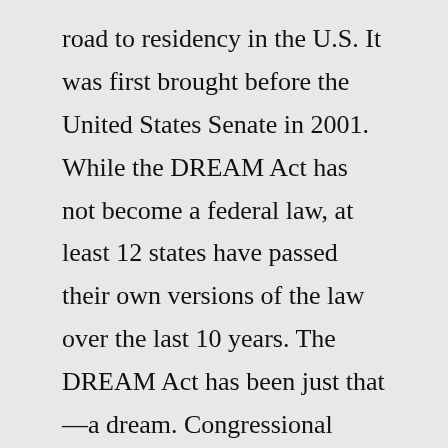road to residency in the U.S. It was first brought before the United States Senate in 2001. While the DREAM Act has not become a federal law, at least 12 states have passed their own versions of the law over the last 10 years. The DREAM Act has been just that—a dream. Congressional gridlock has stopped the DREAM Act from becoming law every time it has been introduced in Congress. However, despite